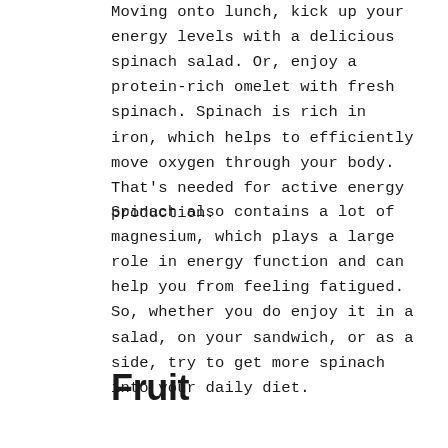Moving onto lunch, kick up your energy levels with a delicious spinach salad. Or, enjoy a protein-rich omelet with fresh spinach. Spinach is rich in iron, which helps to efficiently move oxygen through your body. That's needed for active energy production.
Spinach also contains a lot of magnesium, which plays a large role in energy function and can help you from feeling fatigued. So, whether you do enjoy it in a salad, on your sandwich, or as a side, try to get more spinach into your daily diet.
Fruit